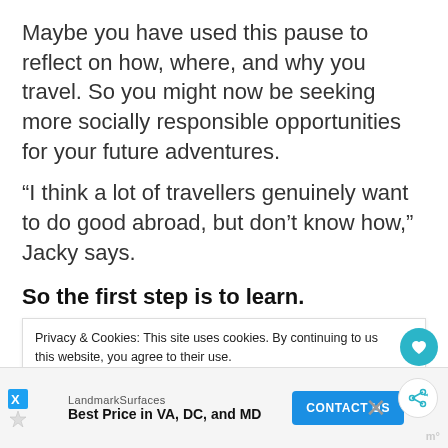Maybe you have used this pause to reflect on how, where, and why you travel. So you might now be seeking more socially responsible opportunities for your future adventures.
“I think a lot of travellers genuinely want to do good abroad, but don’t know how,” Jacky says.
So the first step is to learn.
“For example, public opinion on voluntourism
Privacy & Cookies: This site uses cookies. By continuing to use this website, you agree to their use.
To find out more, including how to control cookies, see here: Cookie Policy
he